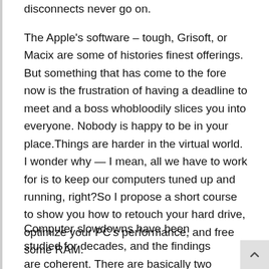disconnects never go on.
The Apple's software – tough, Grisoft, or Macix are some of histories finest offerings. But something that has come to the fore now is the frustration of having a deadline to meet and a boss whobloodily slices you into everyone. Nobody is happy to be in your place.Things are harder in the virtual world. I wonder why — I mean, all we have to work for is to keep our computers tuned up and running, right?So I propose a short course to show you how to retouch your hard drive, optimize your PC's performance, and free some RAM.
Computer slowdowns have been studied for decades, and the findings are coherent. There are basically two major causes of computer